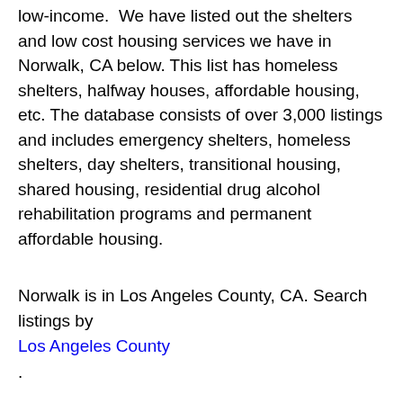low-income.  We have listed out the shelters and low cost housing services we have in Norwalk, CA below. This list has homeless shelters, halfway houses, affordable housing, etc. The database consists of over 3,000 listings and includes emergency shelters, homeless shelters, day shelters, transitional housing, shared housing, residential drug alcohol rehabilitation programs and permanent affordable housing.
Norwalk is in Los Angeles County, CA. Search listings by Los Angeles County .